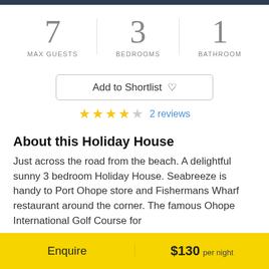7 MAX GUESTS | 3 BEDROOMS | 1 BATHROOM
Add to Shortlist ♡
★★★★☆ 2 reviews
About this Holiday House
Just across the road from the beach. A delightful sunny 3 bedroom Holiday House. Seabreeze is handy to Port Ohope store and Fishermans Wharf restaurant around the corner. The famous Ohope International Golf Course for
Enquire $130 per night